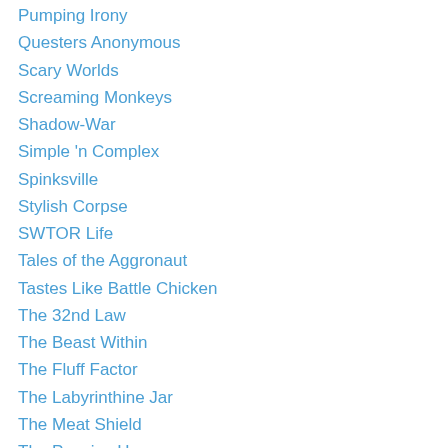Pumping Irony
Questers Anonymous
Scary Worlds
Screaming Monkeys
Shadow-War
Simple 'n Complex
Spinksville
Stylish Corpse
SWTOR Life
Tales of the Aggronaut
Tastes Like Battle Chicken
The 32nd Law
The Beast Within
The Fluff Factor
The Labyrinthine Jar
The Meat Shield
The Pensive Harpy
The Self-Aware Colony
Tish Tosh Tesh